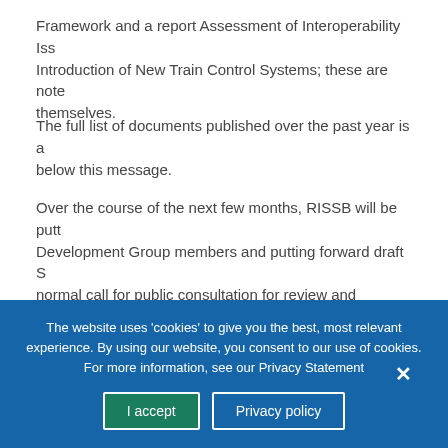Framework and a report Assessment of Interoperability Issues with the Introduction of New Train Control Systems; these are noted as documents themselves.
The full list of documents published over the past year is available below this message.
Over the course of the next few months, RISSB will be putting together Development Group members and putting forward draft Standards through normal call for public consultation for review and consideration. If you'd like to get involved, please continue to read our email communications or join a Development Group.
I hope that by giving you some insight into how we incorporate our processes and planning, you are encouraged to keep
The website uses 'cookies' to give you the best, most relevant experience. By using our website, you consent to our use of cookies. For more information, see our Privacy Statement